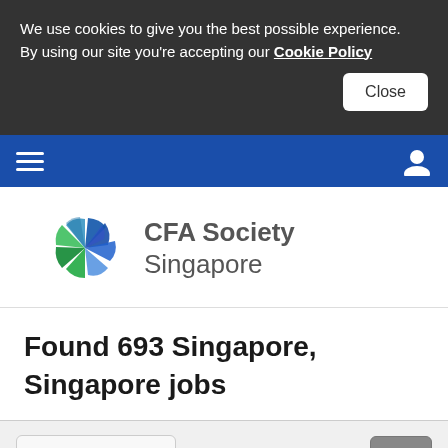We use cookies to give you the best possible experience. By using our site you're accepting our Cookie Policy
[Figure (logo): CFA Society Singapore logo with multicolored pinwheel and organization name]
Found 693 Singapore, Singapore jobs
Refine results